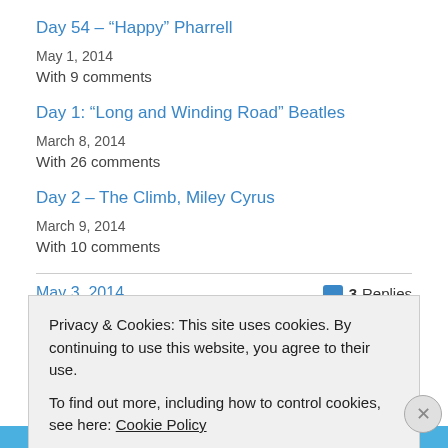Day 54 – “Happy” Pharrell
May 1, 2014
With 9 comments
Day 1: “Long and Winding Road” Beatles
March 8, 2014
With 26 comments
Day 2 – The Climb, Miley Cyrus
March 9, 2014
With 10 comments
May 3, 2014
3 Replies
Privacy & Cookies: This site uses cookies. By continuing to use this website, you agree to their use.
To find out more, including how to control cookies, see here: Cookie Policy
Close and accept